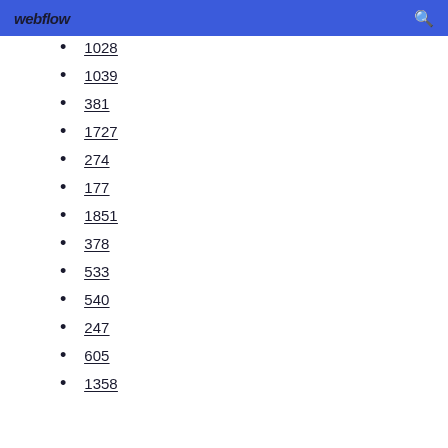webflow
1028
1039
381
1727
274
177
1851
378
533
540
247
605
1358